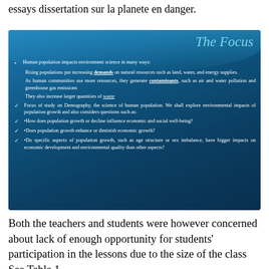essays dissertation sur la planete en danger.
[Figure (infographic): Slide titled 'The Focus' on a blue gradient background with bullet points about human population impacts on environment science, including demands on natural resources, contaminants, waste, and focus on Demography with questions about population growth and economic/social well-being.]
Both the teachers and students were however concerned about lack of enough opportunity for students' participation in the lessons due to the size of the class See Table 1.